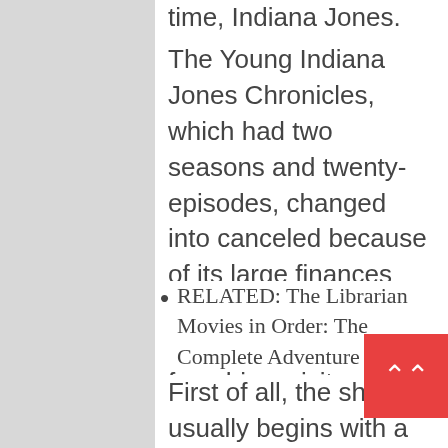time, Indiana Jones.
The Young Indiana Jones Chronicles, which had two seasons and twenty-episodes, changed into canceled because of its large finances and coffee viewership ratings. Unlike the franchise, visitors didn't appear very interested by Indiana's youthful adventures.
RELATED: The Librarian Movies in Order: The Complete Adventure Guide
First of all, the show usually begins with a message from the now-grown Dr. Indiana Jones before launching into memories of his childhood reports. Thus, he uses the prevailing instances